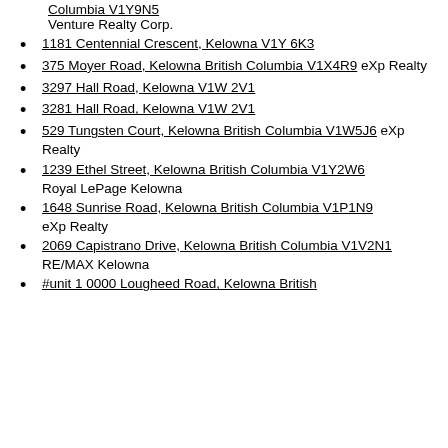Columbia V1Y9N5
Venture Realty Corp.
1181 Centennial Crescent, Kelowna V1Y 6K3
375 Moyer Road, Kelowna British Columbia V1X4R9 eXp Realty
3297 Hall Road, Kelowna V1W 2V1
3281 Hall Road, Kelowna V1W 2V1
529 Tungsten Court, Kelowna British Columbia V1W5J6 eXp Realty
1239 Ethel Street, Kelowna British Columbia V1Y2W6
Royal LePage Kelowna
1648 Sunrise Road, Kelowna British Columbia V1P1N9
eXp Realty
2069 Capistrano Drive, Kelowna British Columbia V1V2N1
RE/MAX Kelowna
#unit 1 0000 Lougheed Road, Kelowna British